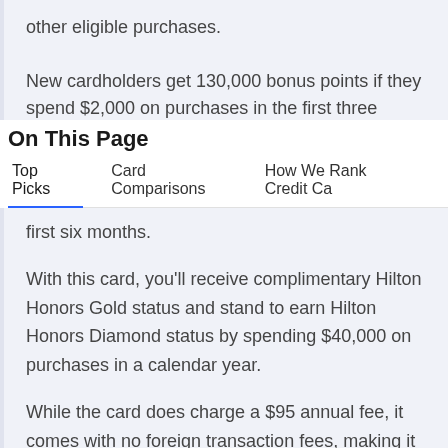other eligible purchases.
New cardholders get 130,000 bonus points if they spend $2,000 on purchases in the first three
On This Page
Top Picks    Card Comparisons    How We Rank Credit Ca
first six months.
With this card, you'll receive complimentary Hilton Honors Gold status and stand to earn Hilton Honors Diamond status by spending $40,000 on purchases in a calendar year.
While the card does charge a $95 annual fee, it comes with no foreign transaction fees, making it perfect to use outside the U.S.